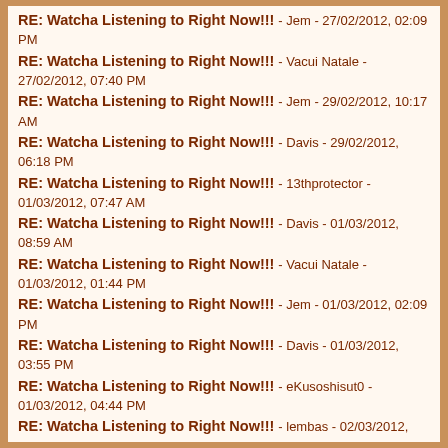RE: Watcha Listening to Right Now!!! - Jem - 27/02/2012, 02:09 PM
RE: Watcha Listening to Right Now!!! - Vacui Natale - 27/02/2012, 07:40 PM
RE: Watcha Listening to Right Now!!! - Jem - 29/02/2012, 10:17 AM
RE: Watcha Listening to Right Now!!! - Davis - 29/02/2012, 06:18 PM
RE: Watcha Listening to Right Now!!! - 13thprotector - 01/03/2012, 07:47 AM
RE: Watcha Listening to Right Now!!! - Davis - 01/03/2012, 08:59 AM
RE: Watcha Listening to Right Now!!! - Vacui Natale - 01/03/2012, 01:44 PM
RE: Watcha Listening to Right Now!!! - Jem - 01/03/2012, 02:09 PM
RE: Watcha Listening to Right Now!!! - Davis - 01/03/2012, 03:55 PM
RE: Watcha Listening to Right Now!!! - eKusoshisut0 - 01/03/2012, 04:44 PM
RE: Watcha Listening to Right Now!!! - lembas - 02/03/2012, 03:42 PM
RE: Watcha Listening to Right Now!!! - Davis - 03/03/2012, 09:47 AM
RE: Watcha Listening to Right Now!!! - xBu - 05/03/2012, 12:47 AM
RE: Watcha Listening to Right Now!!! - 13thprotector - 05/03/2012, 09:04 AM
RE: Watcha Listening to Right Now!!! - Jem - 05/03/2012, 01:49 PM
RE: Watcha Listening to Right Now!!! - xBu - 05/03/2012, 02:29 PM
RE: Watcha Listening to Right Now!!! - Davis - 07/03/2012, 04:23 PM
RE: Watcha Listening to Right Now!!! - xBu - 07/03/2012, 05:01 PM
RE: Watcha Listening to Right Now!!! - Vacui Natale - 08/03/2012